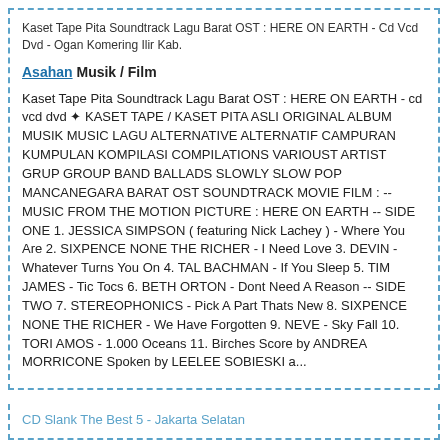Kaset Tape Pita Soundtrack Lagu Barat OST : HERE ON EARTH - Cd Vcd Dvd - Ogan Komering Ilir Kab.
Asahan Musik / Film
Kaset Tape Pita Soundtrack Lagu Barat OST : HERE ON EARTH - cd vcd dvd ✦ KASET TAPE / KASET PITA ASLI ORIGINAL ALBUM MUSIK MUSIC LAGU ALTERNATIVE ALTERNATIF CAMPURAN KUMPULAN KOMPILASI COMPILATIONS VARIOUST ARTIST GRUP GROUP BAND BALLADS SLOWLY SLOW POP MANCANEGARA BARAT OST SOUNDTRACK MOVIE FILM : -- MUSIC FROM THE MOTION PICTURE : HERE ON EARTH -- SIDE ONE 1. JESSICA SIMPSON ( featuring Nick Lachey ) - Where You Are 2. SIXPENCE NONE THE RICHER - I Need Love 3. DEVIN - Whatever Turns You On 4. TAL BACHMAN - If You Sleep 5. TIM JAMES - Tic Tocs 6. BETH ORTON - Dont Need A Reason -- SIDE TWO 7. STEREOPHONICS - Pick A Part Thats New 8. SIXPENCE NONE THE RICHER - We Have Forgotten 9. NEVE - Sky Fall 10. TORI AMOS - 1.000 Oceans 11. Birches Score by ANDREA MORRICONE Spoken by LEELEE SOBIESKI a...
CD Slank The Best 5 - Jakarta Selatan